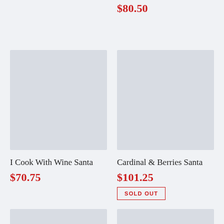$80.50
[Figure (photo): Product image placeholder for I Cook With Wine Santa, light gray rectangle]
I Cook With Wine Santa
$70.75
[Figure (photo): Product image placeholder for Cardinal & Berries Santa, light gray rectangle]
Cardinal & Berries Santa
$101.25
SOLD OUT